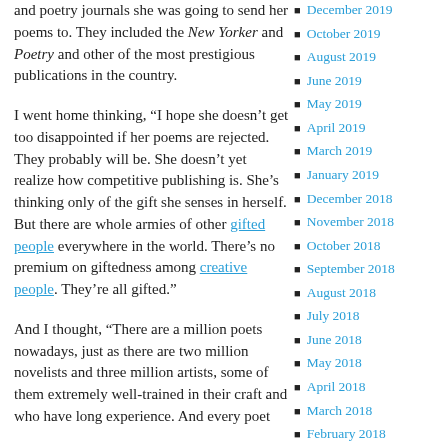and poetry journals she was going to send her poems to. They included the New Yorker and Poetry and other of the most prestigious publications in the country.
I went home thinking, “I hope she doesn’t get too disappointed if her poems are rejected. They probably will be. She doesn’t yet realize how competitive publishing is. She’s thinking only of the gift she senses in herself. But there are whole armies of other gifted people everywhere in the world. There’s no premium on giftedness among creative people. They’re all gifted.”
And I thought, “There are a million poets nowadays, just as there are two million novelists and three million artists, some of them extremely well-trained in their craft and who have long experience. And every poet
December 2019
October 2019
August 2019
June 2019
May 2019
April 2019
March 2019
January 2019
December 2018
November 2018
October 2018
September 2018
August 2018
July 2018
June 2018
May 2018
April 2018
March 2018
February 2018